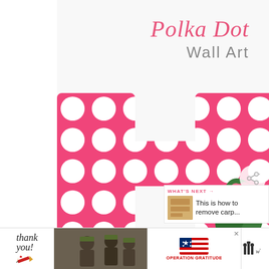[Figure (illustration): White background with decorative script title 'Polka Dot Wall Art' in pink and gray, with a large pink and white polka-dot letter H in the lower portion, flowers visible in background]
Polka Dot Wall Art
[Figure (infographic): WHAT'S NEXT overlay panel with thumbnail image and text 'This is how to remove carp...']
[Figure (infographic): Advertisement banner: Thank you military with Operation Gratitude logo]